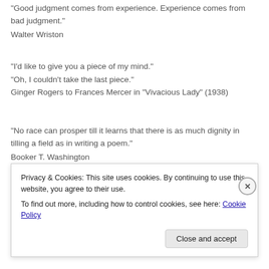"Good judgment comes from experience. Experience comes from bad judgment."
Walter Wriston
"I'd like to give you a piece of my mind."
"Oh, I couldn't take the last piece."
Ginger Rogers to Frances Mercer in "Vivacious Lady" (1938)
"No race can prosper till it learns that there is as much dignity in tilling a field as in writing a poem."
Booker T. Washington
"Please accept my resignation. I don't care to belong to any club that will have me as a member."
Privacy & Cookies: This site uses cookies. By continuing to use this website, you agree to their use.
To find out more, including how to control cookies, see here: Cookie Policy